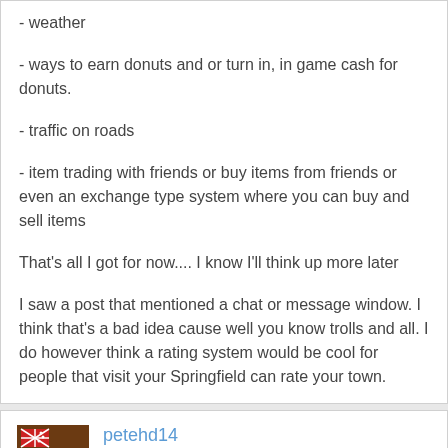- weather
- ways to earn donuts and or turn in, in game cash for donuts.
- traffic on roads
- item trading with friends or buy items from friends or even an exchange type system where you can buy and sell items
That's all I got for now.... I know I'll think up more later
I saw a post that mentioned a chat or message window. I think that's a bad idea cause well you know trolls and all. I do however think a rating system would be cool for people that visit your Springfield can rate your town.
petehd14
February 2015 edited February 2015